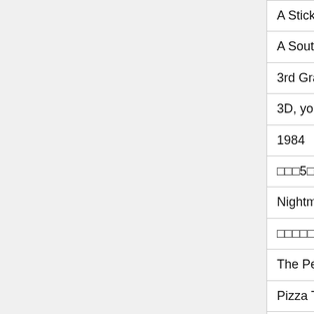| Title | Genre |
| --- | --- |
| A Sticks Life | Other |
| A SouthPark Orange | Comedy |
| 3rd Grade Samurai | Other |
| 3D, you must see! | Other |
| 1984 | Other |
| ⬜⬜⬜5⬜ ⬜⬜⬜⬜⬜⬜⬜⬜Z⬜ | Other |
| Nightmare Knight / ⬜⬜⬜⬜⬜⬜⬜⬜⬜ | Comedy |
| ⬜⬜⬜⬜⬜⬜⬜⬜⬜GT-R | Informative |
| The Perfect Murder | Music Video |
| Pizza Tracking Show | Other |
| Pico's Unloaded | Action |
| Pico's Portal Party | Comedy |
| Pico vs. Convict | Action |
| Game and Watch Manhole: Type A | Action |